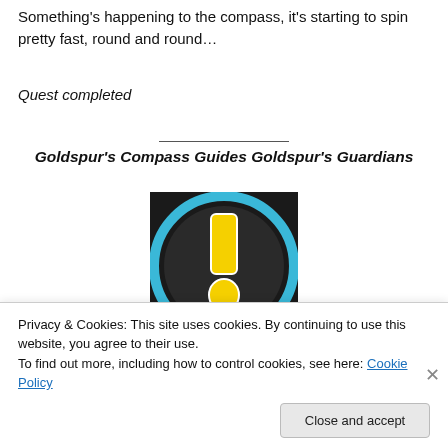Something's happening to the compass, it's starting to spin pretty fast, round and round…
Quest completed
Goldspur's Compass Guides Goldspur's Guardians
[Figure (screenshot): Game icon showing a yellow exclamation mark on a dark circular background with a blue ring border]
Privacy & Cookies: This site uses cookies. By continuing to use this website, you agree to their use.
To find out more, including how to control cookies, see here: Cookie Policy